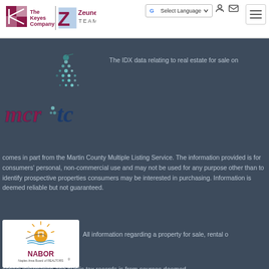[Figure (logo): The Keyes Company | Zeuner Team logo in header]
[Figure (logo): Google Translate Select Language button]
[Figure (logo): Hamburger menu icon]
[Figure (logo): MCR TC (Martin County Multiple Listing Service) logo]
The IDX data relating to real estate for sale on comes in part from the Martin County Multiple Listing Service. The information provided is for consumers' personal, non-commercial use and may not be used for any purpose other than to identify prospective properties consumers may be interested in purchasing. Information is deemed reliable but not guaranteed.
[Figure (logo): NABOR Naples Area Board of REALTORS logo]
All information regarding a property for sale, rental o school information and public tax records is from sources deemed...